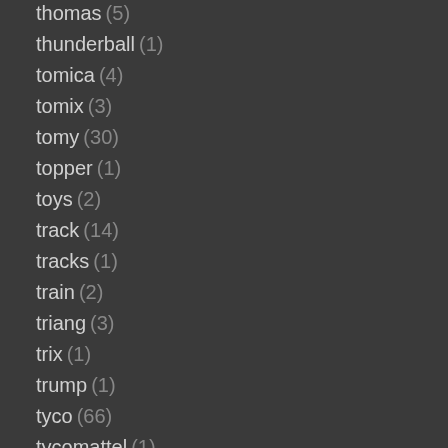thomas (5)
thunderball (1)
tomica (4)
tomix (3)
tomy (30)
topper (1)
toys (2)
track (14)
tracks (1)
train (2)
triang (3)
trix (1)
trump (1)
tyco (66)
tycomattel (1)
tycopro (2)
union (2)
unique (1)